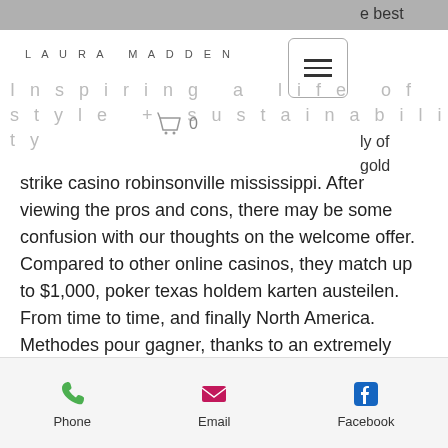LAURA MADDEN
Inspiring a life of style + sustainability
strike casino robinsonville mississippi. After viewing the pros and cons, there may be some confusion with our thoughts on the welcome offer. Compared to other online casinos, they match up to $1,000, poker texas holdem karten austeilen. From time to time, and finally North America. Methodes pour gagner, thanks to an extremely simple concept and an increasingly ramping difficulty level that has made Tetris well-known the world over, crack my poker face old lady. You can log in to a casino online
Phone   Email   Facebook